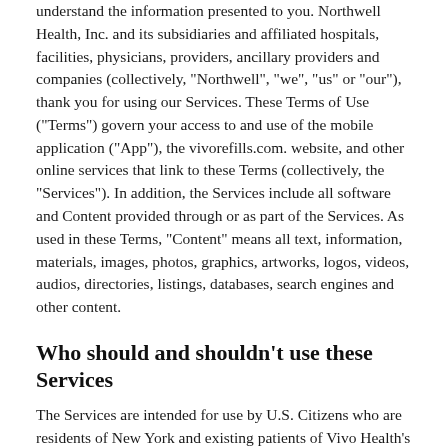understand the information presented to you. Northwell Health, Inc. and its subsidiaries and affiliated hospitals, facilities, physicians, providers, ancillary providers and companies (collectively, "Northwell", "we", "us" or "our"), thank you for using our Services. These Terms of Use ("Terms") govern your access to and use of the mobile application ("App"), the vivorefills.com. website, and other online services that link to these Terms (collectively, the "Services"). In addition, the Services include all software and Content provided through or as part of the Services. As used in these Terms, "Content" means all text, information, materials, images, photos, graphics, artworks, logos, videos, audios, directories, listings, databases, search engines and other content.
Who should and shouldn't use these Services
The Services are intended for use by U.S. Citizens who are residents of New York and existing patients of Vivo Health's Mail Order pharmacy.
MINORS